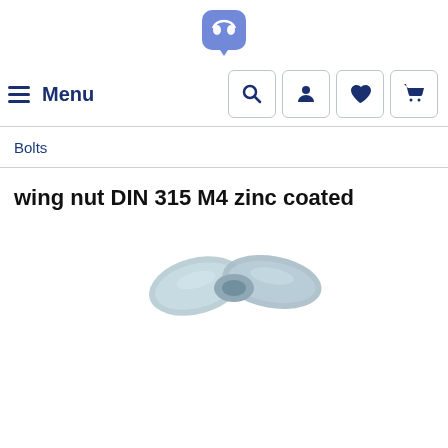[Figure (logo): Discord logo icon, purple/blue rounded square with speech bubble and controller icon]
Menu [search, user, heart, cart icons]
Bolts
wing nut DIN 315 M4 zinc coated
[Figure (photo): Zinc coated wing nut DIN 315 M4, light blue-grey metallic finish, product photograph]